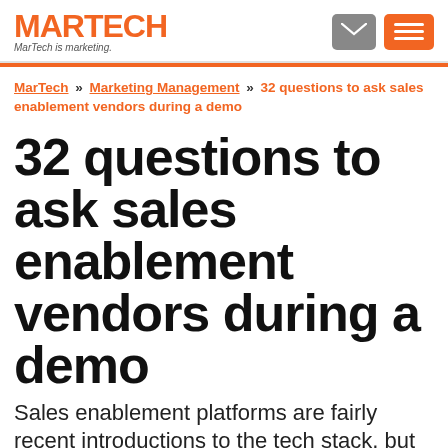MARTECH — MarTech is marketing.
MarTech » Marketing Management » 32 questions to ask sales enablement vendors during a demo
32 questions to ask sales enablement vendors during a demo
Sales enablement platforms are fairly recent introductions to the tech stack, but marketers are readily adopting them to